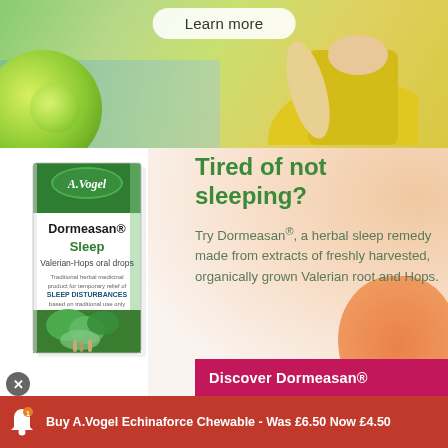[Figure (screenshot): Top banner area with 'Learn more' button, lime/green fruit on left, person in yellow top on right, with colorful gradient background.]
Learn more
[Figure (photo): A.Vogel Dormeasan Sleep Valerian-Hops oral drops product box with green and white design showing Valerian and Hops plants.]
Tired of not sleeping?
Try Dormeasan®, a herbal sleep remedy made from extracts of freshly harvested, organically grown Valerian root and Hops.
Discover Dormeasan®
Buy A.Vogel Echinaforce Chewable - Was £6.50 Now £4.50